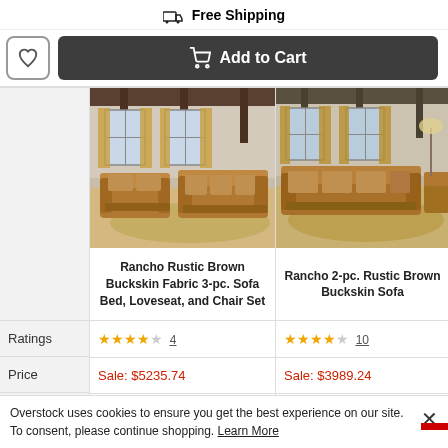Free Shipping
Add to Cart
[Figure (photo): Room photo showing brown buckskin sofa set - product 1]
[Figure (photo): Room photo showing brown buckskin sofa - product 2]
Rancho Rustic Brown Buckskin Fabric 3-pc. Sofa Bed, Loveseat, and Chair Set
Rancho 2-pc. Rustic Brown Buckskin Sofa
|  | Rancho Rustic Brown Buckskin Fabric 3-pc. Sofa Bed, Loveseat, and Chair Set | Rancho 2-pc. Rustic Brown Buckskin Sofa |
| --- | --- | --- |
| Ratings | ★★★★☆ 4 | ★★★★☆ 10 |
| Price | Sale: $5235.74 | Sale: $3989.24 |
| Material | Fabric | Fabric |
Overstock uses cookies to ensure you get the best experience on our site. To consent, please continue shopping. Learn More